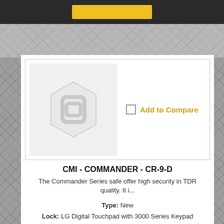[Figure (other): Product image placeholder showing Magento logo watermark on light grey background]
Add to Compare
CMI - COMMANDER - CR-9-D
The Commander Series safe offer high security in TDR quality. It i...
Type: New
Lock: LG Digital Touchpad with 3000 Series Keypad
Ext. dimensions: 1700H x 792W x 862D(mm)
RRP: $11,858.00 + GST
Our Price: $11,270.00+GST